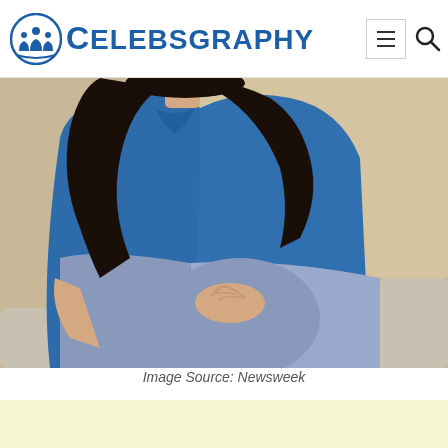CELEBSGRAPHY
[Figure (photo): A woman with long dark hair sitting on a couch wearing a blue hoodie and jeans, viewed from neck down, with her hands resting on her knee]
Image Source: Newsweek